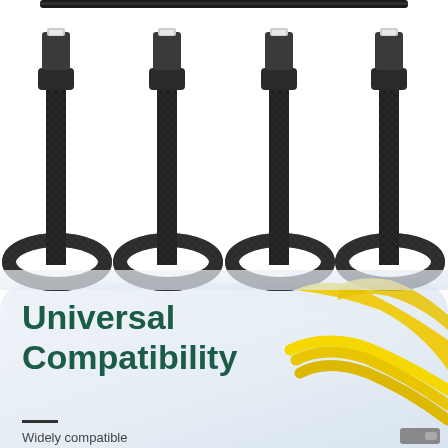[Figure (photo): Four black braided multi-cable USB charging cables with connectors at top and coiled loops at bottom, arranged side by side on white background. Yellow flat cables arc from lower right corner.]
Universal Compatibility
Widely compatible